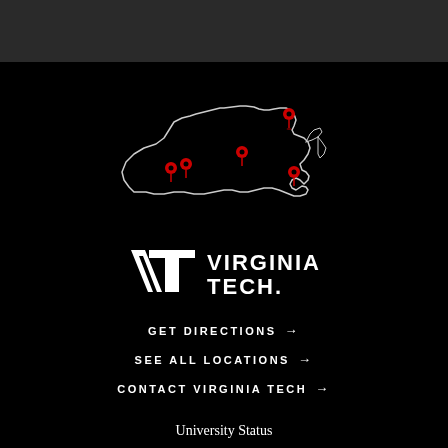[Figure (map): Outline map of Virginia state with red location pin markers at several locations including Northern Virginia, Central Virginia, and Southwest Virginia areas. White outline on black background.]
[Figure (logo): Virginia Tech logo: VT monogram in white with 'VIRGINIA TECH.' text to the right in white bold uppercase letters]
GET DIRECTIONS →
SEE ALL LOCATIONS →
CONTACT VIRGINIA TECH →
University Status
Principles of Community
Privacy Statement